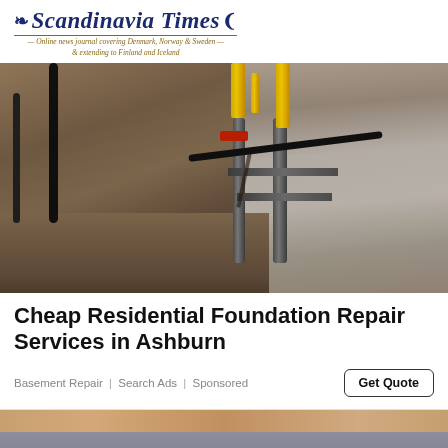Scandinavia Times — Online news journal covering Denmark, Norway & Sweden — & extending to Finland and Iceland
[Figure (photo): Foundation repair construction site showing excavated area next to a concrete block wall with hydraulic support equipment, yellow cylinders, metal brackets and black cables/hoses attached to the foundation.]
Cheap Residential Foundation Repair Services in Ashburn
Basement Repair | Search Ads | Sponsored
[Figure (photo): Partial view of a person wearing a grey shirt, cropped at the bottom of the page.]